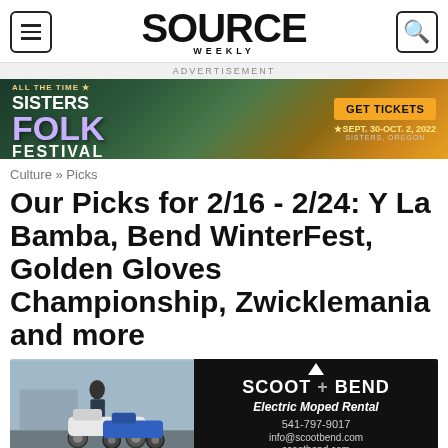SOURCE WEEKLY
[Figure (photo): Sisters Folk Festival advertisement banner: dark nature background with moon, text reads 'SISTERS FOLK FESTIVAL GET TICKETS SEPT. 30-OCT. 2, 2022 SISTERS, OREGON']
ADVERTISEMENT
Culture » Picks
Our Picks for 2/16 - 2/24: Y La Bamba, Bend WinterFest, Golden Gloves Championship, Zwicklemania and more
[Figure (photo): Bottom advertisement split: left side shows a person with two scooters, right side is black with Scoot Bend logo, text: 'Electric Moped Rental 541-797-9017 info@scootbend.com scootbend.com']